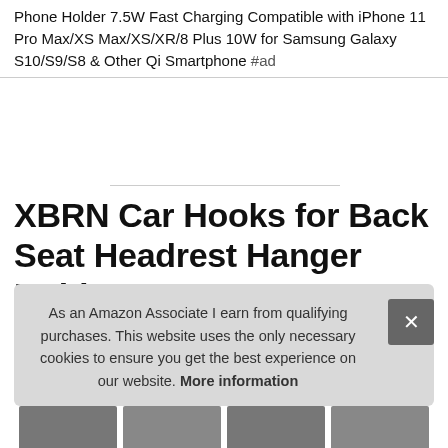Phone Holder 7.5W Fast Charging Compatible with iPhone 11 Pro Max/XS Max/XS/XR/8 Plus 10W for Samsung Galaxy S10/S9/S8 & Other Qi Smartphone #ad
XBRN Car Hooks for Back Seat Headrest Hanger Hold Purse Grocery Bag Hat Cloth Coat 4 Pack
As an Amazon Associate I earn from qualifying purchases. This website uses the only necessary cookies to ensure you get the best experience on our website. More information